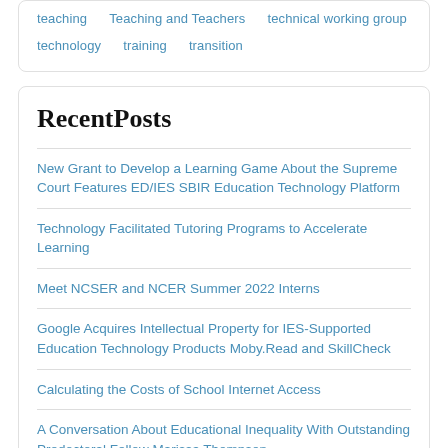teaching
Teaching and Teachers
technical working group
technology
training
transition
RecentPosts
New Grant to Develop a Learning Game About the Supreme Court Features ED/IES SBIR Education Technology Platform
Technology Facilitated Tutoring Programs to Accelerate Learning
Meet NCSER and NCER Summer 2022 Interns
Google Acquires Intellectual Property for IES-Supported Education Technology Products Moby.Read and SkillCheck
Calculating the Costs of School Internet Access
A Conversation About Educational Inequality With Outstanding Predoctoral Fellow Marissa Thompson